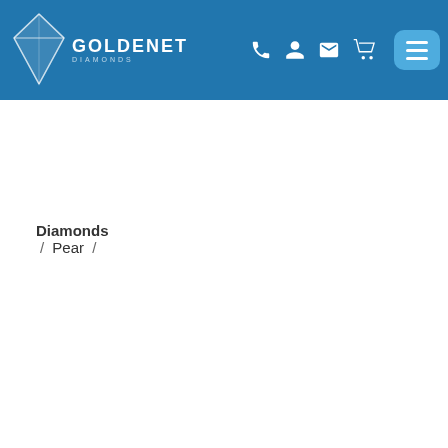GoldeNet — navigation header with logo, phone, user, mail, cart, and menu icons
Diamonds / Pear /